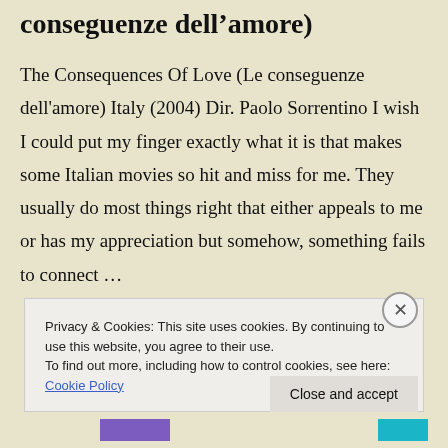conseguenze dell'amore)
The Consequences Of Love (Le conseguenze dell'amore) Italy (2004) Dir. Paolo Sorrentino I wish I could put my finger exactly what it is that makes some Italian movies so hit and miss for me. They usually do most things right that either appeals to me or has my appreciation but somehow, something fails to connect …
Privacy & Cookies: This site uses cookies. By continuing to use this website, you agree to their use.
To find out more, including how to control cookies, see here: Cookie Policy